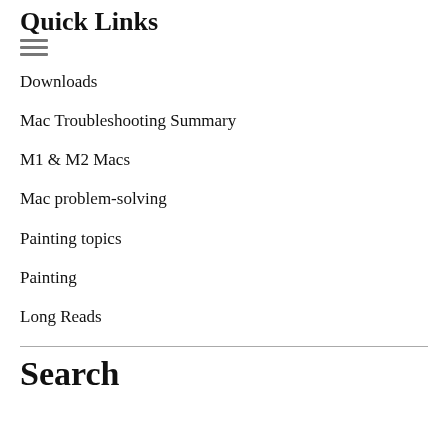Quick Links
Downloads
Mac Troubleshooting Summary
M1 & M2 Macs
Mac problem-solving
Painting topics
Painting
Long Reads
Search